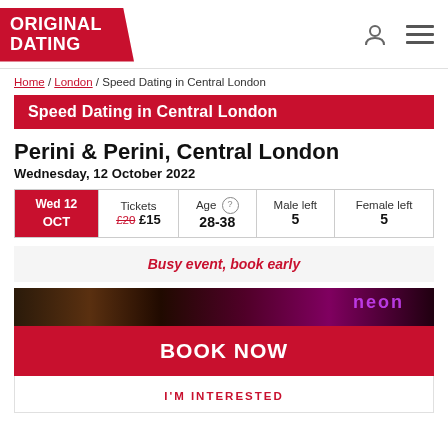ORIGINAL DATING
Home / London / Speed Dating in Central London
Speed Dating in Central London
Perini & Perini, Central London
Wednesday, 12 October 2022
| Date | Tickets | Age | Male left | Female left |
| --- | --- | --- | --- | --- |
| Wed 12 OCT | £20 £15 | 28-38 | 5 | 5 |
Busy event, book early
[Figure (photo): Dark venue interior photo strip]
BOOK NOW
I'M INTERESTED